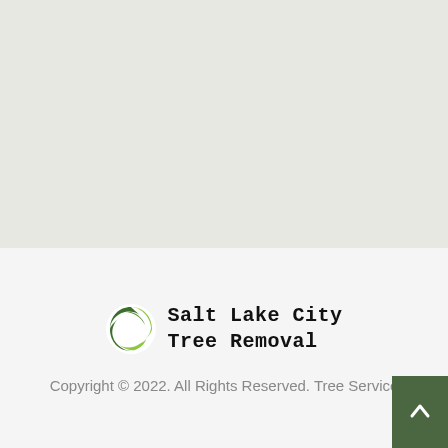[Figure (map): Light grey map area, likely a Google Maps or similar tile map with no visible labels or features, serving as a location/area map for Salt Lake City Tree Removal.]
[Figure (logo): Salt Lake City Tree Removal logo: circular icon with green leaf/swirl design in dark green and yellow-green, alongside bold monospace text reading 'Salt Lake City Tree Removal']
Copyright © 2022. All Rights Reserved. Tree Service